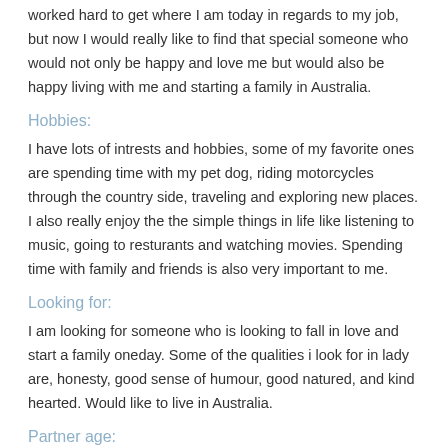worked hard to get where I am today in regards to my job, but now I would really like to find that special someone who would not only be happy and love me but would also be happy living with me and starting a family in Australia.
Hobbies:
I have lots of intrests and hobbies, some of my favorite ones are spending time with my pet dog, riding motorcycles through the country side, traveling and exploring new places. I also really enjoy the the simple things in life like listening to music, going to resturants and watching movies. Spending time with family and friends is also very important to me.
Looking for:
I am looking for someone who is looking to fall in love and start a family oneday. Some of the qualities i look for in lady are, honesty, good sense of humour, good natured, and kind hearted. Would like to live in Australia.
Partner age:
33-43